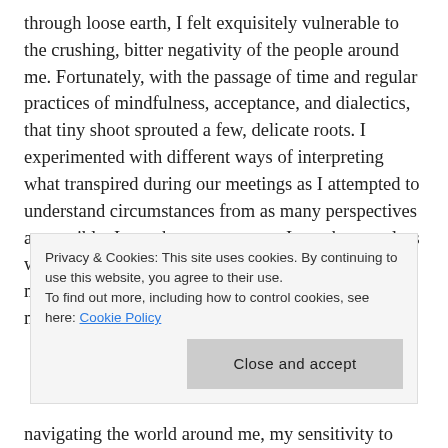through loose earth, I felt exquisitely vulnerable to the crushing, bitter negativity of the people around me. Fortunately, with the passage of time and regular practices of mindfulness, acceptance, and dialectics, that tiny shoot sprouted a few, delicate roots. I experimented with different ways of interpreting what transpired during our meetings as I attempted to understand circumstances from as many perspectives as possible. In my better moments, I sought countless ways to give others the benefit of the doubt. These mornings became an opportunity for me to exercise my dialectical behavioral skills, to
Privacy & Cookies: This site uses cookies. By continuing to use this website, you agree to their use.
To find out more, including how to control cookies, see here: Cookie Policy
[Close and accept]
navigating the world around me, my sensitivity to